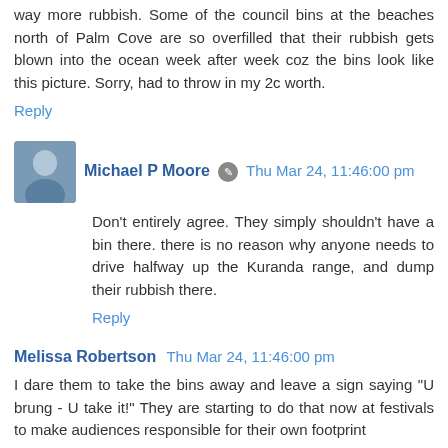way more rubbish. Some of the council bins at the beaches north of Palm Cove are so overfilled that their rubbish gets blown into the ocean week after week coz the bins look like this picture. Sorry, had to throw in my 2c worth.
Reply
Michael P Moore  Thu Mar 24, 11:46:00 pm
Don't entirely agree. They simply shouldn't have a bin there. there is no reason why anyone needs to drive halfway up the Kuranda range, and dump their rubbish there.
Reply
Melissa Robertson  Thu Mar 24, 11:46:00 pm
I dare them to take the bins away and leave a sign saying "U brung - U take it!" They are starting to do that now at festivals to make audiences responsible for their own footprint
Reply